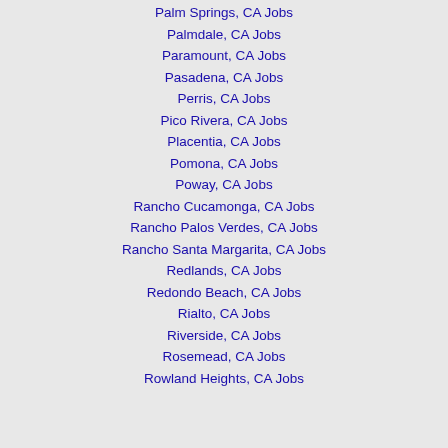Palm Springs, CA Jobs
Palmdale, CA Jobs
Paramount, CA Jobs
Pasadena, CA Jobs
Perris, CA Jobs
Pico Rivera, CA Jobs
Placentia, CA Jobs
Pomona, CA Jobs
Poway, CA Jobs
Rancho Cucamonga, CA Jobs
Rancho Palos Verdes, CA Jobs
Rancho Santa Margarita, CA Jobs
Redlands, CA Jobs
Redondo Beach, CA Jobs
Rialto, CA Jobs
Riverside, CA Jobs
Rosemead, CA Jobs
Rowland Heights, CA Jobs